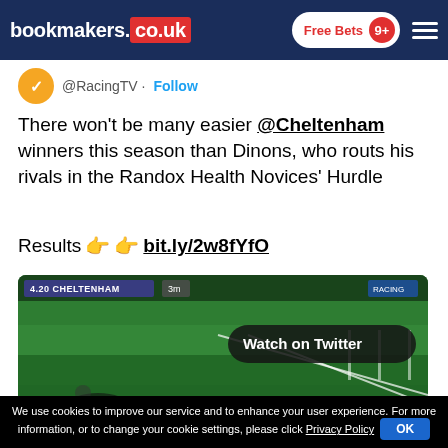bookmakers.co.uk | Free Bets 9+
@RacingTV · Follow
There won't be many easier @Cheltenham winners this season than Dinons, who routs his rivals in the Randox Health Novices' Hurdle
Results 👉👉 bit.ly/2w8fYfO
[Figure (screenshot): Cheltenham racecourse video preview showing a horse race broadcast with '4.20 CHELTENHAM' label and 'Watch on Twitter' overlay button]
[Figure (photo): Advertisement banner with a woman and 'Try your new Tote' text with partially visible amounts]
We use cookies to improve our service and to enhance your user experience. For more information, or to change your cookie settings, please click Privacy Policy  OK